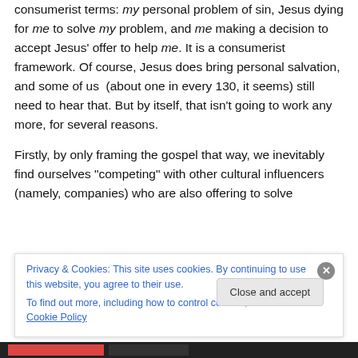consumerist terms: my personal problem of sin, Jesus dying for me to solve my problem, and me making a decision to accept Jesus' offer to help me. It is a consumerist framework. Of course, Jesus does bring personal salvation, and some of us (about one in every 130, it seems) still need to hear that. But by itself, that isn't going to work any more, for several reasons.
Firstly, by only framing the gospel that way, we inevitably find ourselves “competing” with other cultural influencers (namely, companies) who are also offering to solve
Privacy & Cookies: This site uses cookies. By continuing to use this website, you agree to their use.
To find out more, including how to control cookies, see here: Cookie Policy